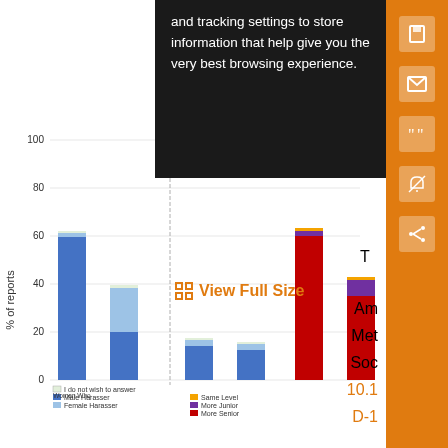[Figure (stacked-bar-chart): Stacked bar chart showing harasser characteristics (gender and seniority level) by respondent group. Left section shows gender (Male Harasser, Female Harasser, I do not wish to answer) for Women Who Experienced Harassment, Men Who Experienced Harassment, Trainee Who Experienced Harassment, Senior Person Who Experienced Harassment. Right section shows seniority level (Same Level, More Junior, More Senior) for the same groups.]
View Full Size
and tracking settings to store information that help give you the very best browsing experience.